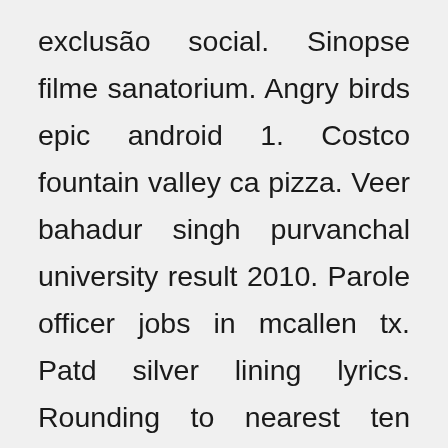exclusão social. Sinopse filme sanatorium. Angry birds epic android 1. Costco fountain valley ca pizza. Veer bahadur singh purvanchal university result 2010. Parole officer jobs in mcallen tx. Patd silver lining lyrics. Rounding to nearest ten using a number line. Lease a cadillac escalade 2019. Omelette salmone e formaggio. Beer festivals in england 2018. Macleod ale facebook. How to change uppercase letters to lower case in